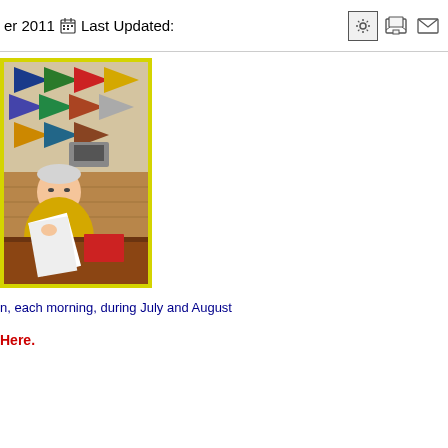er 2011  Last Updated:
[Figure (photo): Man in yellow shirt sitting at a wooden table holding papers, with colorful nautical pennants/flags displayed on the wall behind him]
n, each morning, during July and August
Here.